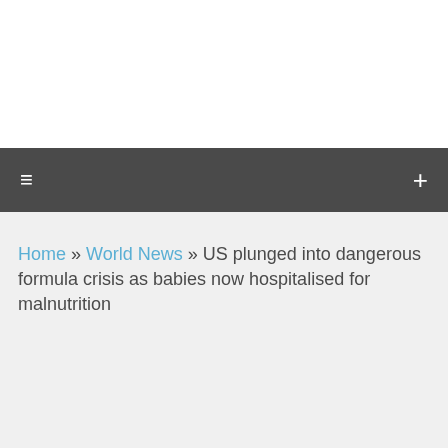≡  +
Home » World News » US plunged into dangerous formula crisis as babies now hospitalised for malnutrition